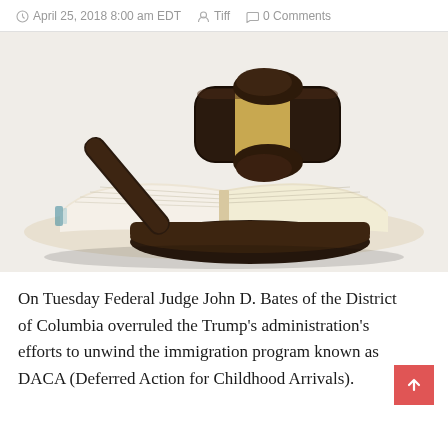April 25, 2018 8:00 am EDT   Tiff   0 Comments
[Figure (photo): A wooden judge's gavel resting on its sound block, placed on top of an open book, photographed on a white background.]
On Tuesday Federal Judge John D. Bates of the District of Columbia overruled the Trump's administration's efforts to unwind the immigration program known as DACA (Deferred Action for Childhood Arrivals).